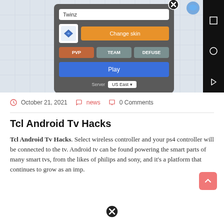[Figure (screenshot): Mobile game dialog showing username 'Twinz', a fish avatar, 'Change skin' orange button, PVP/TEAM/DEFUSE mode buttons, a blue 'Play' button, and server selector 'US East', with Android navigation bar on right]
October 21, 2021   news   0 Comments
Tcl Android Tv Hacks
Tcl Android Tv Hacks. Select wireless controller and your ps4 controller will be connected to the tv. Android tv can be found powering the smart parts of many smart tvs, from the likes of philips and sony, and it's a platform that continues to grow as an imp.